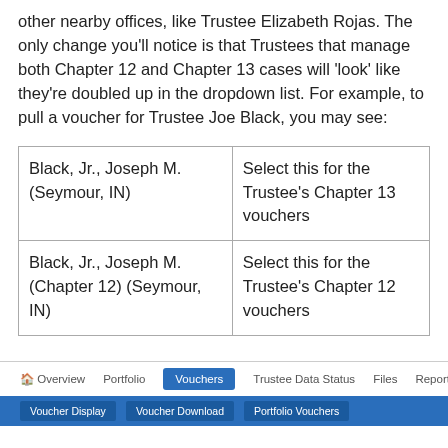other nearby offices, like Trustee Elizabeth Rojas. The only change you'll notice is that Trustees that manage both Chapter 12 and Chapter 13 cases will 'look' like they're doubled up in the dropdown list. For example, to pull a voucher for Trustee Joe Black, you may see:
| Black, Jr., Joseph M. (Seymour, IN) | Select this for the Trustee's Chapter 13 vouchers |
| Black, Jr., Joseph M. (Chapter 12) (Seymour, IN) | Select this for the Trustee's Chapter 12 vouchers |
Overview  Portfolio  Vouchers  Trustee Data Status  Files  Reporting  Settings | Voucher Display  Voucher Download  Portfolio Vouchers